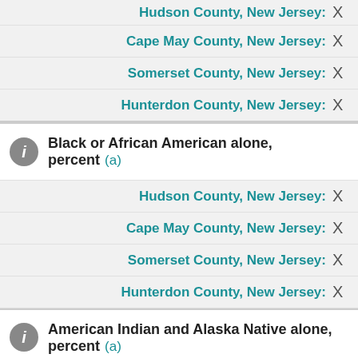Hudson County, New Jersey: X
Cape May County, New Jersey: X
Somerset County, New Jersey: X
Hunterdon County, New Jersey: X
Black or African American alone, percent (a)
Hudson County, New Jersey: X
Cape May County, New Jersey: X
Somerset County, New Jersey: X
Hunterdon County, New Jersey: X
American Indian and Alaska Native alone, percent (a)
Hudson County, New Jersey: X
Cape May County, New Jersey: X
Somerset County, New Jersey: X
Hunterdon County, New Jersey: X
Is this page helpful? Yes No